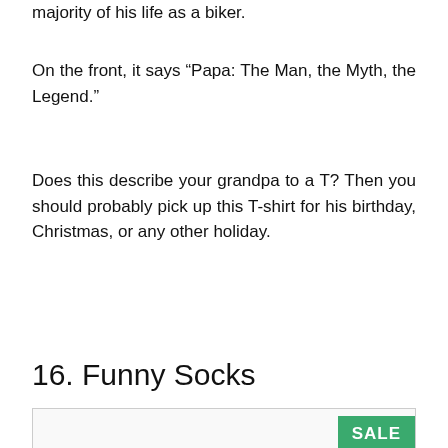majority of his life as a biker.
On the front, it says “Papa: The Man, the Myth, the Legend.”
Does this describe your grandpa to a T? Then you should probably pick up this T-shirt for his birthday, Christmas, or any other holiday.
16. Funny Socks
[Figure (other): Product image placeholder with SALE badge]